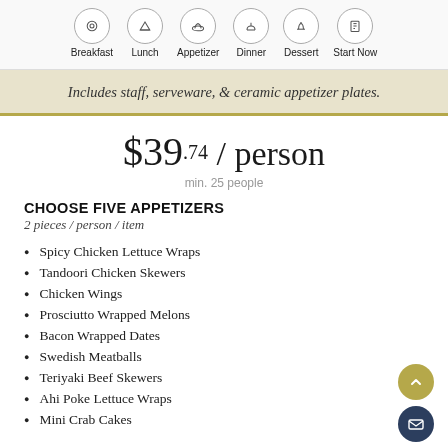Breakfast  Lunch  Appetizer  Dinner  Dessert  Start Now
Includes staff, serveware, & ceramic appetizer plates.
$39.74 / person
min. 25 people
CHOOSE FIVE APPETIZERS
2 pieces / person / item
Spicy Chicken Lettuce Wraps
Tandoori Chicken Skewers
Chicken Wings
Prosciutto Wrapped Melons
Bacon Wrapped Dates
Swedish Meatballs
Teriyaki Beef Skewers
Ahi Poke Lettuce Wraps
Mini Crab Cakes